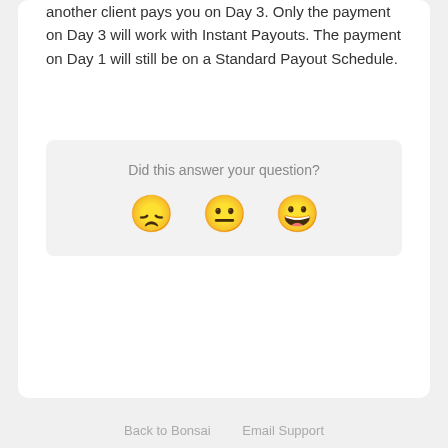another client pays you on Day 3. Only the payment on Day 3 will work with Instant Payouts. The payment on Day 1 will still be on a Standard Payout Schedule.
[Figure (infographic): Feedback widget with text 'Did this answer your question?' and three emoji faces: disappointed, neutral, and happy/grinning.]
Back to Bonsai   Email Support